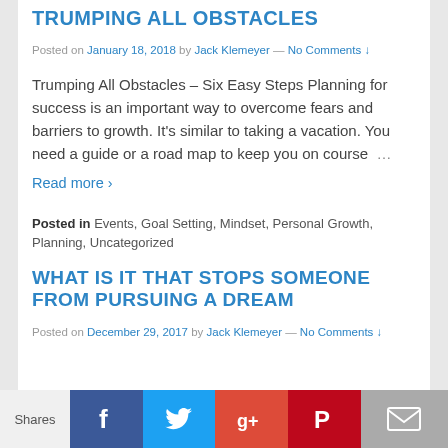TRUMPING ALL OBSTACLES
Posted on January 18, 2018 by Jack Klemeyer — No Comments ↓
Trumping All Obstacles – Six Easy Steps Planning for success is an important way to overcome fears and barriers to growth. It's similar to taking a vacation. You need a guide or a road map to keep you on course  …
Read more ›
Posted in Events, Goal Setting, Mindset, Personal Growth, Planning, Uncategorized
WHAT IS IT THAT STOPS SOMEONE FROM PURSUING A DREAM
Posted on December 29, 2017 by Jack Klemeyer — No Comments ↓
Shares  [Facebook] [Twitter] [Google+] [Pinterest] [Email]